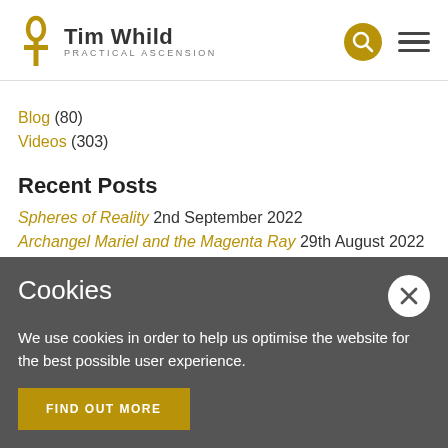Tim Whild PRACTICAL ASCENSION
Blog (80)
Videos (303)
Recent Posts
Spheres of Reality 2nd September 2022
Archangel Mariel and the Magenta Ray 29th August 2022
Cookies
We use cookies in order to help us optimise the website for the best possible user experience.
FIND OUT MORE